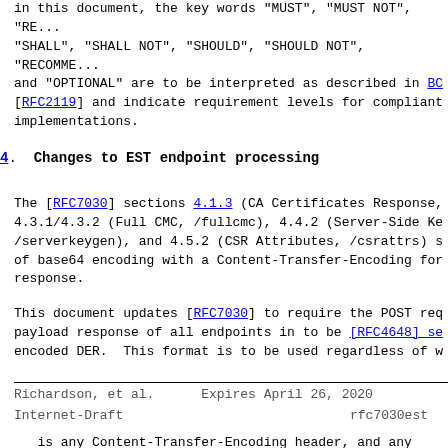in this document, the key words "MUST", "MUST NOT", "RE... "SHALL", "SHALL NOT", "SHOULD", "SHOULD NOT", "RECOMME... and "OPTIONAL" are to be interpreted as described in BC [RFC2119] and indicate requirement levels for compliant implementations.
4.  Changes to EST endpoint processing
The [RFC7030] sections 4.1.3 (CA Certificates Response, 4.3.1/4.3.2 (Full CMC, /fullcmc), 4.4.2 (Server-Side Ke /serverkeygen), and 4.5.2 (CSR Attributes, /csrattrs) s of base64 encoding with a Content-Transfer-Encoding for response.
This document updates [RFC7030] to require the POST req payload response of all endpoints in to be [RFC4648] se encoded DER.  This format is to be used regardless of w
Richardson, et al.      Expires April 26, 2020
Internet-Draft                    rfc7030est
is any Content-Transfer-Encoding header, and any value is to be ignored.
5.  Clarification of ASN.1 for Certificate Attribute set